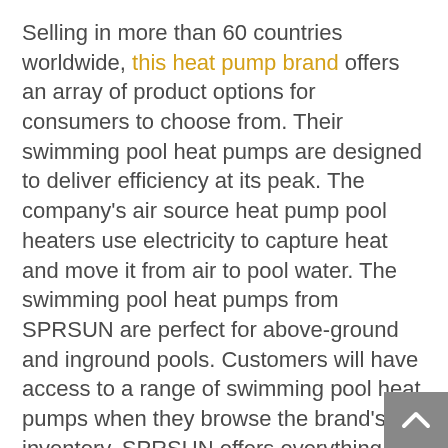Selling in more than 60 countries worldwide, this heat pump brand offers an array of product options for consumers to choose from. Their swimming pool heat pumps are designed to deliver efficiency at its peak. The company's air source heat pump pool heaters use electricity to capture heat and move it from air to pool water. The swimming pool heat pumps from SPRSUN are perfect for above-ground and inground pools. Customers will have access to a range of swimming pool heat pumps when they browse the brand's inventory. SPRSUN offers everything, from the small domestic pool heat pumps to the large commercial pool heat pumps.
SPRSUN also offers a selection of top-quality DC Inverter heat pumps for hot water and air conditioning needs. The DC Inverter heat pumps are designed to automatically adjust compressor speed according to changes in ambient temperature. The automatic changes in compressor speed